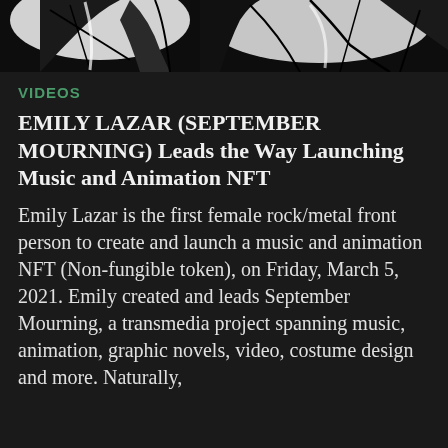[Figure (illustration): Black and white manga/comic-style illustration showing characters with dynamic poses and ink linework against a black background]
VIDEOS
EMILY LAZAR (SEPTEMBER MOURNING) Leads the Way Launching Music and Animation NFT
Emily Lazar is the first female rock/metal front person to create and launch a music and animation NFT (Non-fungible token), on Friday, March 5, 2021. Emily created and leads September Mourning, a transmedia project spanning music, animation, graphic novels, video, costume design and more. Naturally,